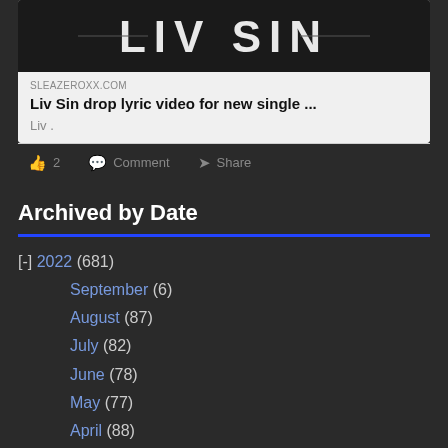[Figure (screenshot): Liv Sin band logo on dark background]
SLEAZEROXX.COM
Liv Sin drop lyric video for new single ...
Liv .
👍 2   💬 Comment   ➤ Share
Archived by Date
[-] 2022 (681)
September (6)
August (87)
July (82)
June (78)
May (77)
April (88)
March (67)